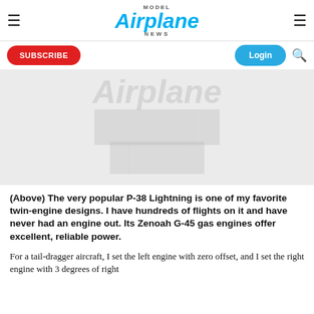Model Airplane News
SUBSCRIBE | Login
[Figure (photo): Blurred/paywalled image of a P-38 Lightning model airplane, shown with watermark overlay text making the content unreadable]
(Above) The very popular P-38 Lightning is one of my favorite twin-engine designs. I have hundreds of flights on it and have never had an engine out. Its Zenoah G-45 gas engines offer excellent, reliable power.
For a tail-dragger aircraft, I set the left engine with zero offset, and I set the right engine with 3 degrees of right thrust...